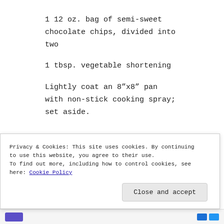1 12 oz. bag of semi-sweet chocolate chips, divided into two
1 tbsp. vegetable shortening
Lightly coat an 8”x8” pan with non-stick cooking spray; set aside.
Privacy & Cookies: This site uses cookies. By continuing to use this website, you agree to their use.
To find out more, including how to control cookies, see here: Cookie Policy
Close and accept